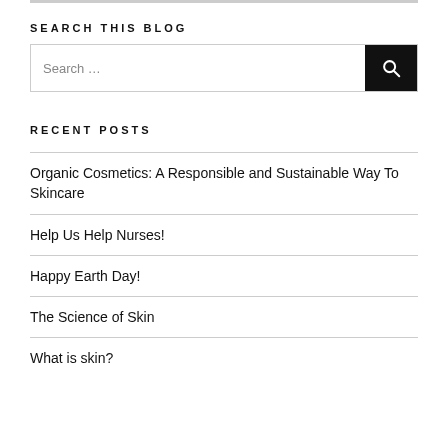SEARCH THIS BLOG
[Figure (other): Search input box with search button icon on the right]
RECENT POSTS
Organic Cosmetics: A Responsible and Sustainable Way To Skincare
Help Us Help Nurses!
Happy Earth Day!
The Science of Skin
What is skin?